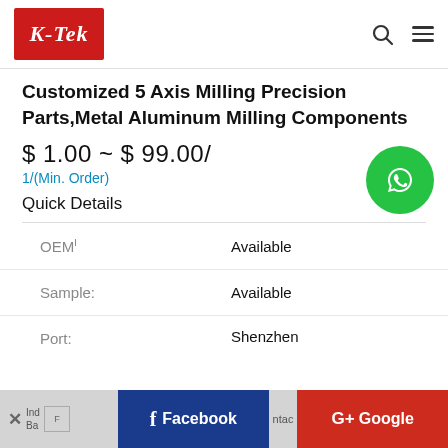[Figure (logo): K-Tek logo in red box with white italic script text]
Customized 5 Axis Milling Precision Parts,Metal Aluminum Milling Components
$ 1.00 ~ $ 99.00/
1/(Min. Order)
Quick Details
[Figure (illustration): WhatsApp green circle icon with phone handset]
| Field | Value |
| --- | --- |
| OEMⅠ | Available |
| Sample: | Available |
| Port: | Shenzhen |
Facebook | Google+ share bar at bottom